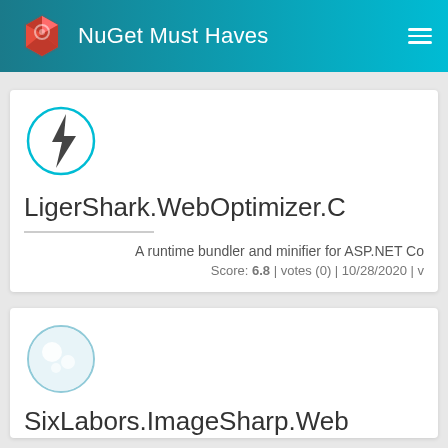NuGet Must Haves
[Figure (logo): Red gem/crystal icon logo for NuGet Must Haves]
LigerShark.WebOptimizer.C
A runtime bundler and minifier for ASP.NET Co
Score: 6.8 | votes (0) | 10/28/2020 |
[Figure (logo): Light blue circle with white dot bubbles icon for SixLabors.ImageSharp.Web]
SixLabors.ImageSharp.Web